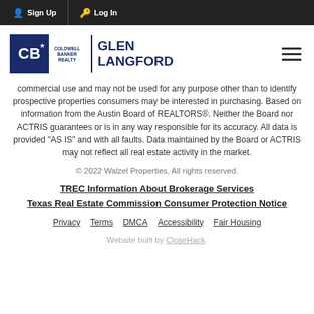Sign Up | Log In
[Figure (logo): Coldwell Banker Realty - Glen Langford logo with hamburger menu icon]
commercial use and may not be used for any purpose other than to identify prospective properties consumers may be interested in purchasing. Based on information from the Austin Board of REALTORS®. Neither the Board nor ACTRIS guarantees or is in any way responsible for its accuracy. All data is provided "AS IS" and with all faults. Data maintained by the Board or ACTRIS may not reflect all real estate activity in the market.
© 2022 Walzel Properties. All rights reserved.
TREC Information About Brokerage Services
Texas Real Estate Commission Consumer Protection Notice
Privacy  Terms  DMCA  Accessibility  Fair Housing
Website built by CloseHack.